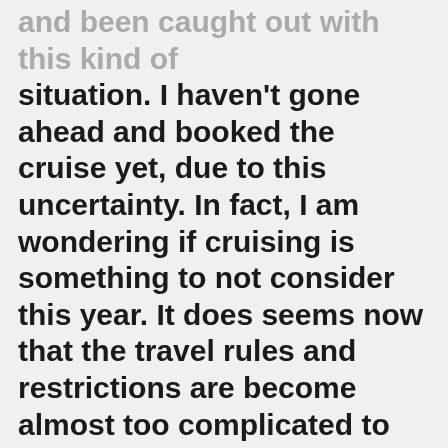and been caught out with this kind of situation. I haven't gone ahead and booked the cruise yet, due to this uncertainty. In fact, I am wondering if cruising is something to not consider this year. It does seems now that the travel rules and restrictions are become almost too complicated to figure out. Does anyone else feel that way? We managed a week in Spain at the beginning of May, and they had no restrictions apart from having to show your vaccine document, and even then it was a very cursory look. All experiences and/or advice welcome